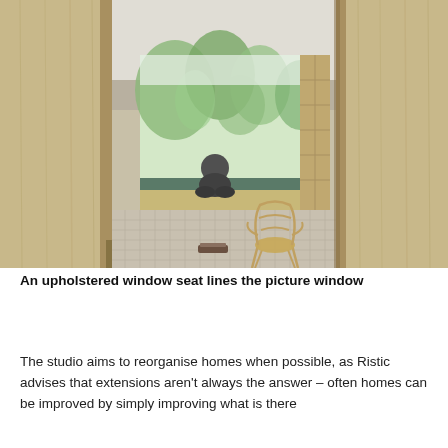[Figure (photo): Interior architectural photo showing a room viewed through a wide oak-panelled doorway. A person sits cross-legged on an upholstered window seat at a large picture window overlooking a green garden. A bentwood chair and a small object on the floor are visible. The room has light tile flooring and warm wood tones throughout.]
An upholstered window seat lines the picture window
The studio aims to reorganise homes when possible, as Ristic advises that extensions aren't always the answer – often homes can be improved by simply improving what is there